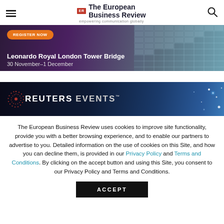The European Business Review — empowering communication globally
[Figure (photo): Banner image with dark purple gradient and building facade. Shows orange 'Register Now' button and white text: 'Leonardo Royal London Tower Bridge' and '30 November–1 December']
[Figure (photo): Reuters Events banner with dark blue background, Reuters Events logo with circular dot pattern, and star/light effects]
The European Business Review uses cookies to improve site functionality, provide you with a better browsing experience, and to enable our partners to advertise to you. Detailed information on the use of cookies on this Site, and how you can decline them, is provided in our Privacy Policy and Terms and Conditions. By clicking on the accept button and using this Site, you consent to our Privacy Policy and Terms and Conditions.
ACCEPT